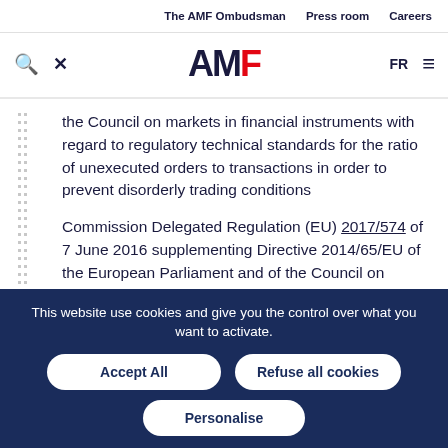The AMF Ombudsman   Press room   Careers
[Figure (logo): AMF logo with search and tools icons, FR language selector, and hamburger menu]
the Council on markets in financial instruments with regard to regulatory technical standards for the ratio of unexecuted orders to transactions in order to prevent disorderly trading conditions
Commission Delegated Regulation (EU) 2017/574 of 7 June 2016 supplementing Directive 2014/65/EU of the European Parliament and of the Council on markets in financial instruments with regard to regulatory technical standards for...
This website use cookies and give you the control over what you want to activate.